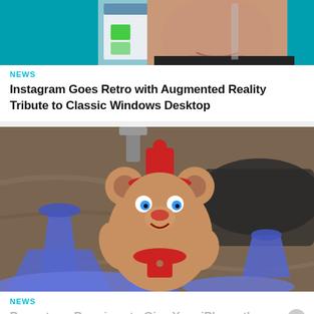[Figure (screenshot): Partial image showing a person's face with augmented reality Windows desktop overlay on a teal background]
NEWS
Instagram Goes Retro with Augmented Reality Tribute to Classic Windows Desktop
[Figure (photo): Augmented reality photo showing a cartoon bear character with blue cone shapes overlaid on a marble countertop with sink]
NEWS
Puppetoon Promises to Give Your iPhone the Freedom to Create Augmented Reality Animations